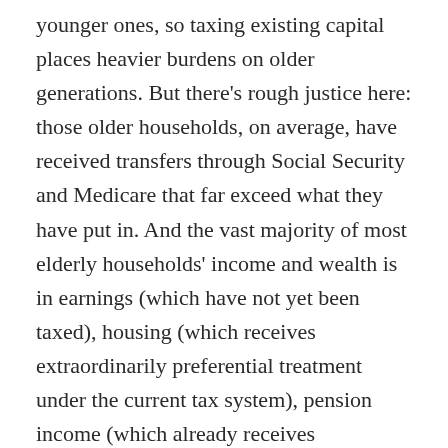younger ones, so taxing existing capital places heavier burdens on older generations. But there's rough justice here: those older households, on average, have received transfers through Social Security and Medicare that far exceed what they have put in. And the vast majority of most elderly households' income and wealth is in earnings (which have not yet been taxed), housing (which receives extraordinarily preferential treatment under the current tax system), pension income (which already receives consumption-tax treatment), Social Security benefits (which everyone agrees would be indexed for inflation with tax reform), and Medicare benefits (which are not taxed). Few elderly households finance much of their living expenses from other assets, and those that do tend to be well off.
Ultimately, the political case for transition relief would